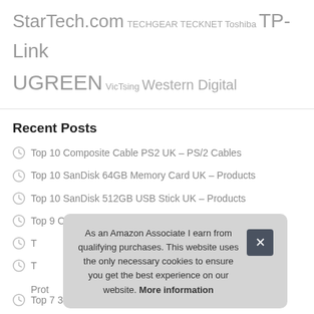StarTech.com TECHGEAR TECKNET Toshiba TP-Link UGREEN VicTsing Western Digital
Recent Posts
Top 10 Composite Cable PS2 UK – PS/2 Cables
Top 10 SanDisk 64GB Memory Card UK – Products
Top 10 SanDisk 512GB USB Stick UK – Products
Top 9 Old iPad Charger Cable 2M UK – Products
T...
T... Products
Top 7 3.5inch Hard Drive UK – Products
As an Amazon Associate I earn from qualifying purchases. This website uses the only necessary cookies to ensure you get the best experience on our website. More information